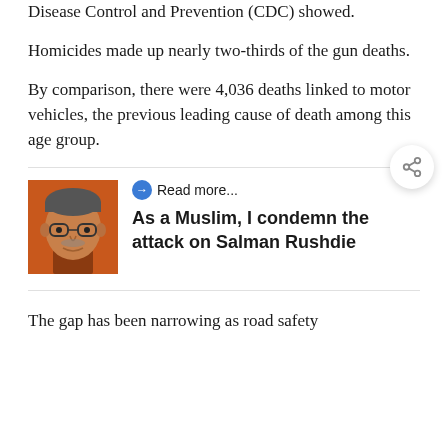Disease Control and Prevention (CDC) showed.
Homicides made up nearly two-thirds of the gun deaths.
By comparison, there were 4,036 deaths linked to motor vehicles, the previous leading cause of death among this age group.
[Figure (photo): Portrait photo of a man with grey hair and glasses against an orange-tinted background]
Read more...
As a Muslim, I condemn the attack on Salman Rushdie
The gap has been narrowing as road safety